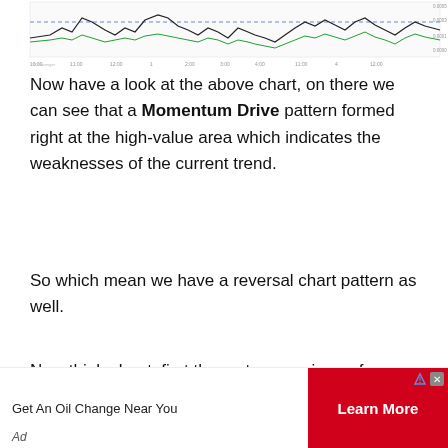[Figure (continuous-plot): A financial line chart showing price/momentum data with multiple lines including a dashed horizontal reference line, small axis labels along the bottom and right side.]
Now have a look at the above chart, on there we can see that a Momentum Drive pattern formed right at the high-value area which indicates the weaknesses of the current trend.
So which mean we have a reversal chart pattern as well.
Now think about, first three steps are in our favour which means we are in a high-value area and also we got a weaker trend which indicates the potential of a trend reversal is
[Figure (other): Advertisement banner: 'Get An Oil Change Near You' with a red 'Learn More' button on the right side, small Ad label at bottom left.]